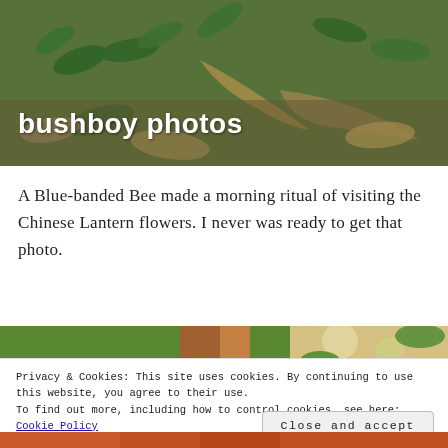[Figure (photo): Header photo of green plants, dried grass, and leaves on the ground with the site title 'bushboy photos' overlaid in white text]
bushboy photos
A Blue-banded Bee made a morning ritual of visiting the Chinese Lantern flowers. I never was ready to get that photo.
[Figure (photo): Two partial photos visible below text: left shows green foliage and orange/brown stem, right shows blurred bokeh background with green leaves]
Privacy & Cookies: This site uses cookies. By continuing to use this website, you agree to their use.
To find out more, including how to control cookies, see here: Cookie Policy
Close and accept
[Figure (photo): Partial bottom strip showing orange colored subject, appears to be a flower or insect]